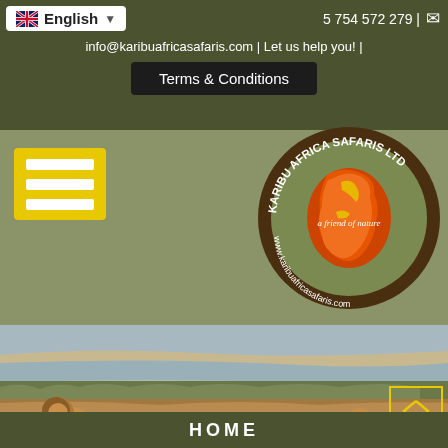English | +5 754 572 279 | info@karibuafricasafaris.com | Let us help you! | Terms & Conditions
[Figure (logo): Karibu Africa Safaris Ltd circular logo with Africa continent in red/orange/yellow, text 'a friend of nature' and 'www.karibuafricasafaris.com']
[Figure (photo): Safari landscape photo showing lions/cubs near a watering hole with grassland and sandy riverbank]
HOME